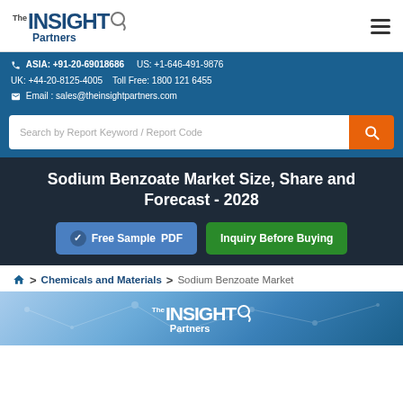The Insight Partners
ASIA: +91-20-69018686   US: +1-646-491-9876
UK: +44-20-8125-4005   Toll Free: 1800 121 6455
Email : sales@theinsightpartners.com
Search by Report Keyword / Report Code
Sodium Benzoate Market Size, Share and Forecast - 2028
Free Sample PDF   Inquiry Before Buying
Home > Chemicals and Materials > Sodium Benzoate Market
[Figure (logo): The Insight Partners logo on a blue gradient background at the bottom of the page]